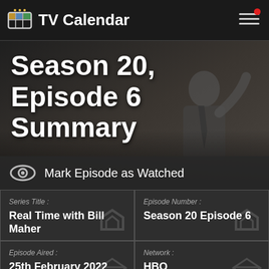TV Calendar
Season 20, Episode 6 Summary
Mark Episode as Watched
| Series Title : | Episode Number : |
| --- | --- |
| Real Time with Bill Maher | Season 20 Episode 6 |
| Episode Aired : 25th February 2022 | Network : HBO |